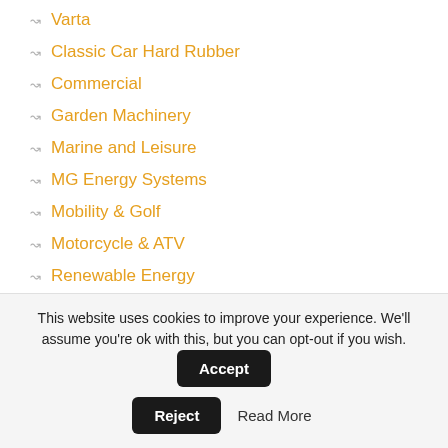Varta
Classic Car Hard Rubber
Commercial
Garden Machinery
Marine and Leisure
MG Energy Systems
Mobility & Golf
Motorcycle & ATV
Renewable Energy
Chargers and Inverters
Solar Power
Special Offers
Uncategorised
This website uses cookies to improve your experience. We'll assume you're ok with this, but you can opt-out if you wish. Accept Reject Read More